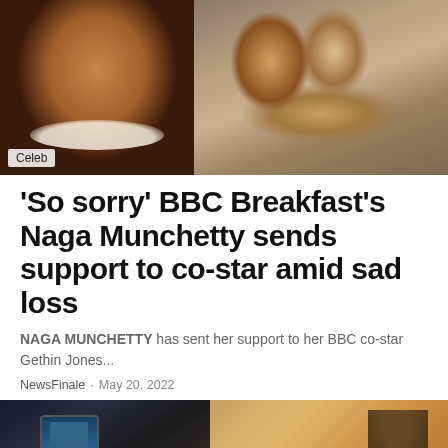[Figure (photo): Two photos side by side: left shows a woman (Naga Munchetty) smiling, with 'Celeb' badge overlay; right shows people with a dog]
'So sorry' BBC Breakfast's Naga Munchetty sends support to co-star amid sad loss
NAGA MUNCHETTY has sent her support to her BBC co-star Gethin Jones...
NewsFinale · May 20, 2022
[Figure (photo): Two photos side by side at bottom: left shows a phone screen with a figure, right shows a person indoors]